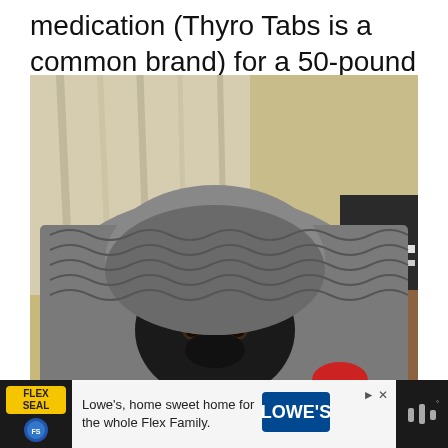medication (Thyro Tabs is a common brand) for a 50-pound dog.
[Figure (photo): A small black dog peeking out from under a black and white knit blanket draped over its head like a hood, sitting on what appears to be a brown surface, with curtains and a wall visible in the background.]
[Figure (infographic): Advertisement bar at the bottom: Flex Seal logo on left, text 'Lowe's, home sweet home for the whole Flex Family.' with Lowe's logo, close/play button icons, and speaker icon on right.]